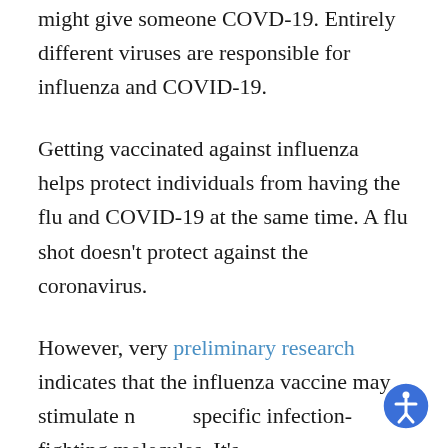might give someone COVD-19. Entirely different viruses are responsible for influenza and COVID-19.
Getting vaccinated against influenza helps protect individuals from having the flu and COVID-19 at the same time. A flu shot doesn't protect against the coronavirus.
However, very preliminary research indicates that the influenza vaccine may stimulate non-specific infection-fighting molecules. It's